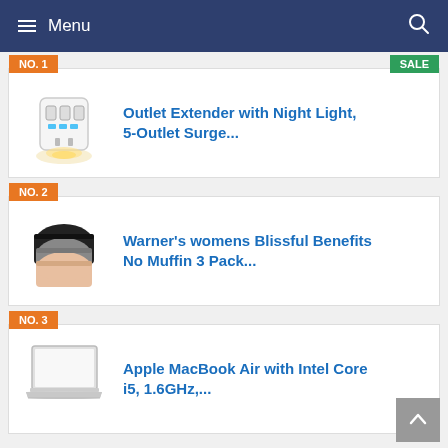Menu
NO. 1 — Outlet Extender with Night Light, 5-Outlet Surge...
NO. 2 — Warner's womens Blissful Benefits No Muffin 3 Pack...
NO. 3 — Apple MacBook Air with Intel Core i5, 1.6GHz,...